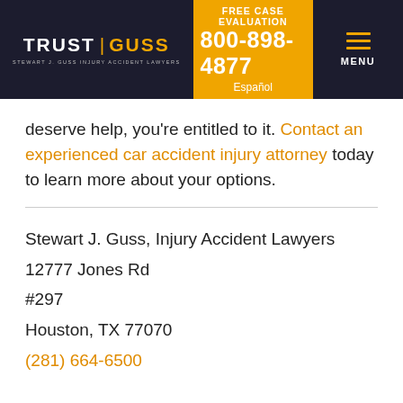TRUST | GUSS STEWART J. GUSS INJURY ACCIDENT LAWYERS | FREE CASE EVALUATION 800-898-4877 Español | MENU
deserve help, you're entitled to it. Contact an experienced car accident injury attorney today to learn more about your options.
Stewart J. Guss, Injury Accident Lawyers
12777 Jones Rd
#297
Houston, TX 77070
(281) 664-6500